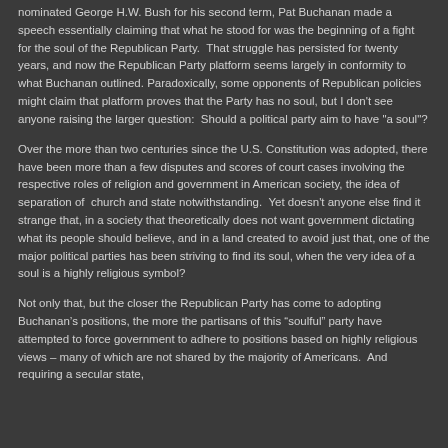nominated George H.W. Bush for his second term, Pat Buchanan made a speech essentially claiming that what he stood for was the beginning of a fight for the soul of the Republican Party.  That struggle has persisted for twenty years, and now the Republican Party platform seems largely in conformity to what Buchanan outlined.  Paradoxically, some opponents of Republican policies might claim that platform proves that the Party has no soul, but I don't see anyone raising the larger question:  Should a political party aim to have "a soul"?
Over the more than two centuries since the U.S. Constitution was adopted, there have been more than a few disputes and scores of court cases involving the respective roles of religion and government in American society, the idea of separation of  church and state notwithstanding.  Yet doesn't anyone else find it strange that, in a society that theoretically does not want government dictating what its people should believe, and in a land created to avoid just that, one of the major political parties has been striving to find its soul, when the very idea of a soul is a highly religious symbol?
Not only that, but the closer the Republican Party has come to adopting Buchanan's positions, the more the partisans of this “soulful” party have attempted to force government to adhere to positions based on highly religious views – many of which are not shared by the majority of Americans.  And requiring a secular state,